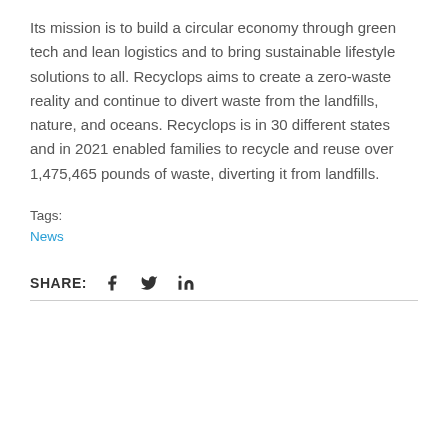Its mission is to build a circular economy through green tech and lean logistics and to bring sustainable lifestyle solutions to all. Recyclops aims to create a zero-waste reality and continue to divert waste from the landfills, nature, and oceans. Recyclops is in 30 different states and in 2021 enabled families to recycle and reuse over 1,475,465 pounds of waste, diverting it from landfills.
Tags:
News
SHARE: